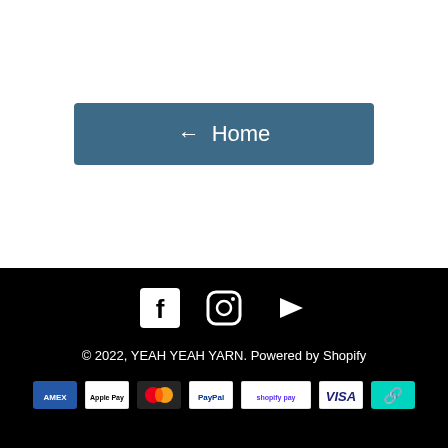[Figure (other): Home button with left arrow icon on white background]
[Figure (other): Social media icons: Facebook, Instagram, YouTube on black footer]
© 2022, YEAH YEAH YARN. Powered by Shopify
[Figure (other): Payment method icons: American Express, Apple Pay, Mastercard, PayPal, Shopify Pay, Visa, and a link icon]